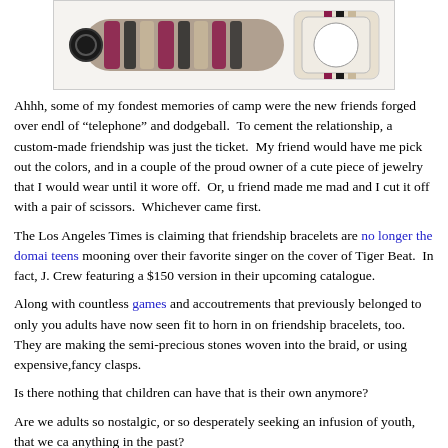[Figure (photo): Photo of colorful braided friendship bracelets, one with a round clasp and one with a watch-style clasp, on a white background.]
Ahhh, some of my fondest memories of camp were the new friends forged over endl of “telephone” and dodgeball.  To cement the relationship, a custom-made friendship was just the ticket.  My friend would have me pick out the colors, and in a couple of the proud owner of a cute piece of jewelry that I would wear until it wore off.  Or, u friend made me mad and I cut it off with a pair of scissors.  Whichever came first.
The Los Angeles Times is claiming that friendship bracelets are no longer the domai teens mooning over their favorite singer on the cover of Tiger Beat.  In fact, J. Crew featuring a $150 version in their upcoming catalogue.
Along with countless games and accoutrements that previously belonged to only you adults have now seen fit to horn in on friendship bracelets, too.  They are making the semi-precious stones woven into the braid, or using expensive,fancy clasps.
Is there nothing that children can have that is their own anymore?
Are we adults so nostalgic, or so desperately seeking an infusion of youth, that we ca anything in the past?
Nex thing you know, metal braces with colored rubber bands will be the next big thi the forty-year-old set.